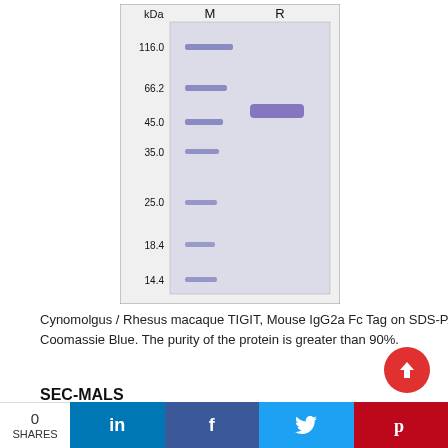[Figure (other): SDS-PAGE gel image showing molecular weight marker (M) and reducing (R) condition lanes. kDa markers at 116.0, 66.2, 45.0, 35.0, 25.0, 18.4, 14.4. A prominent band in lane R at approximately 55 kDa.]
Cynomolgus / Rhesus macaque TIGIT, Mouse IgG2a Fc Tag on SDS-PAGE under reducing (R) condition. The gel was stained overnight with Coomassie Blue. The purity of the protein is greater than 90%.
SEC-MALS